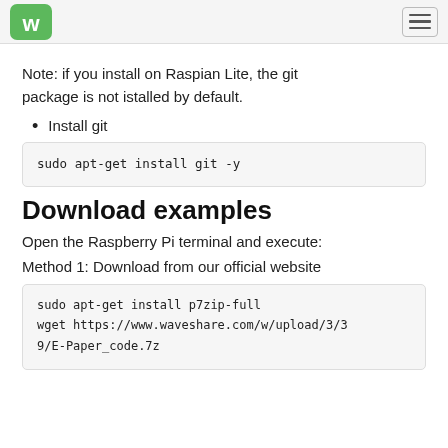Waveshare logo and navigation menu
Note: if you install on Raspian Lite, the git package is not istalled by default.
Install git
sudo apt-get install git -y
Download examples
Open the Raspberry Pi terminal and execute:
Method 1: Download from our official website
sudo apt-get install p7zip-full
wget https://www.waveshare.com/w/upload/3/39/E-Paper_code.7z